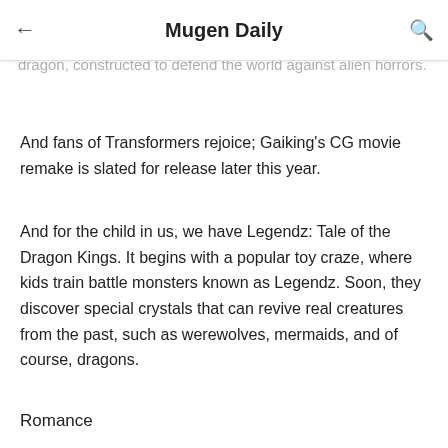Mugen Daily
Next, we have a classic of the Super Robot shows: Gaiking. The story revolves around a boy who pilots a huge mecha-dragon, constructed to defend the world against alien horrors.
And fans of Transformers rejoice; Gaiking's CG movie remake is slated for release later this year.
And for the child in us, we have Legendz: Tale of the Dragon Kings. It begins with a popular toy craze, where kids train battle monsters known as Legendz. Soon, they discover special crystals that can revive real creatures from the past, such as werewolves, mermaids, and of course, dragons.
Romance
Who would expect dragons to feature in a romantic comedy